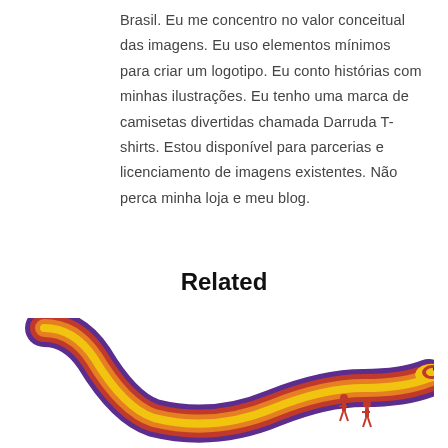Brasil. Eu me concentro no valor conceitual das imagens. Eu uso elementos mínimos para criar um logotipo. Eu conto histórias com minhas ilustrações. Eu tenho uma marca de camisetas divertidas chamada Darruda T-shirts. Estou disponível para parcerias e licenciamento de imagens existentes. Não perca minha loja e meu blog.
Related
[Figure (illustration): Colorful illustration of a stylized snake or serpent with layered bands of purple, red, orange, and yellow, curving in an S-shape. Two small red human figures stand to the right side of the snake.]